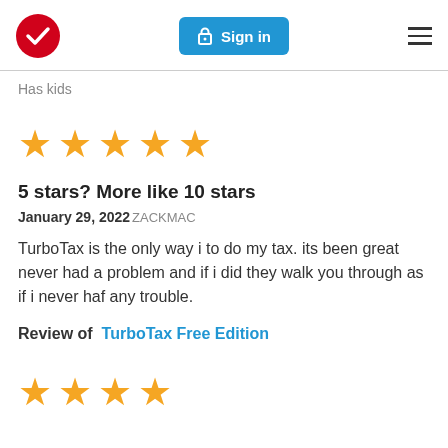TurboTax logo | Sign in | Menu
Has kids
[Figure (other): Five gold star rating icons]
5 stars? More like 10 stars
January 29, 2022 ZACKMAC
TurboTax is the only way i to do my tax. its been great never had a problem and if i did they walk you through as if i never haf any trouble.
Review of TurboTax Free Edition
[Figure (other): Four gold star rating icons (partial view at bottom)]